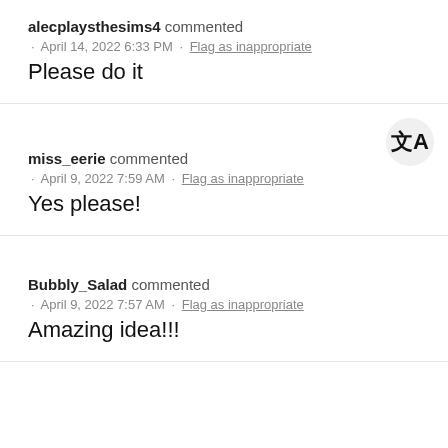alecplaysthesims4 commented · April 14, 2022 6:33 PM · Flag as inappropriate
Please do it
miss_eerie commented · April 9, 2022 7:59 AM · Flag as inappropriate
Yes please!
Bubbly_Salad commented · April 9, 2022 7:57 AM · Flag as inappropriate
Amazing idea!!!